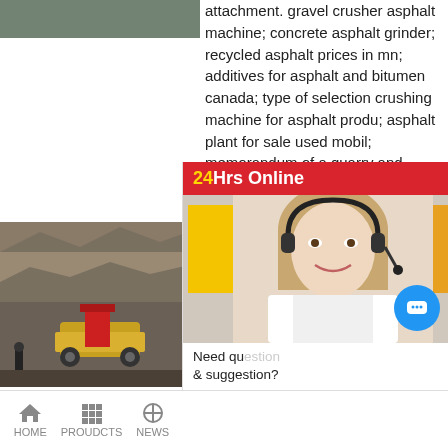[Figure (photo): Construction/quarry equipment photo at top left]
attachment. gravel crusher asphalt machine; concrete asphalt grinder; recycled asphalt prices in mn; additives for asphalt and bitumen canada; type of selection crushing machine for asphalt produ; asphalt plant for sale used mobil; memorandum of a quarry and asphalt company; miil hot asphalt; concrete crushing equipment rental orange crush llc illinois ...
[Figure (photo): Quarry site with heavy machinery and rock face]
Seal Coating | Kern Bakersfield, Ca
Asphalt Milling. Asp plaining 12in - 7ft w
machine. Demo. Site demo of concrete, asphalt, tree types of site demo. Concrete and Asphalt Crushing.
[Figure (photo): Customer service agent with headset - 24Hrs Online panel with Chat Now button, Enquiry section, and limingjlmofen link]
HOME   PROUDCTS   NEWS